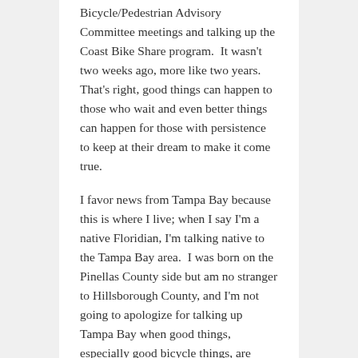Bicycle/Pedestrian Advisory Committee meetings and talking up the Coast Bike Share program.  It wasn't two weeks ago, more like two years.  That's right, good things can happen to those who wait and even better things can happen for those with persistence to keep at their dream to make it come true.
I favor news from Tampa Bay because this is where I live; when I say I'm a native Floridian, I'm talking native to the Tampa Bay area.  I was born on the Pinellas County side but am no stranger to Hillsborough County, and I'm not going to apologize for talking up Tampa Bay when good things, especially good bicycle things, are happening in this area.  I can't say it's perfect, but I personally feel we need to celebrate the good things whenever we can and the launch of the Coast Bike Share program in Tampa is one of those occasions.